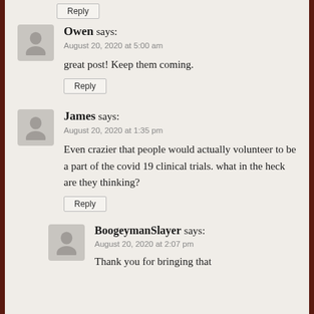Reply (button at top)
Owen says: August 20, 2020 at 5:00 am
great post! Keep them coming.
Reply
James says: August 20, 2020 at 1:35 pm
Even crazier that people would actually volunteer to be a part of the covid 19 clinical trials. what in the heck are they thinking?
Reply
BoogeymanSlayer says: August 20, 2020 at 2:07 pm
Thank you for bringing that